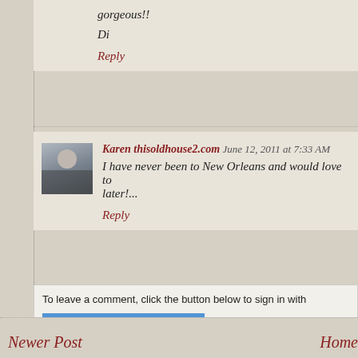gorgeous!!
Di
Reply
Karen thisoldhouse2.com June 12, 2011 at 7:33 AM
I have never been to New Orleans and would love to later!...
Reply
To leave a comment, click the button below to sign in with
SIGN IN WITH GOOGLE
Please take time to leave a comment! I love knowing that peo
Newer Post
Home